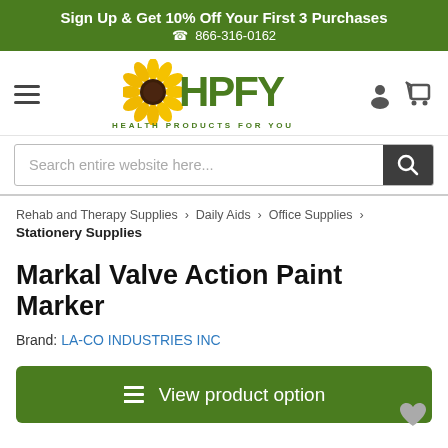Sign Up & Get 10% Off Your First 3 Purchases
📞 866-316-0162
[Figure (logo): HPFY Health Products For You logo with sunflower]
Search entire website here...
Rehab and Therapy Supplies > Daily Aids > Office Supplies > Stationery Supplies
Markal Valve Action Paint Marker
Brand: LA-CO INDUSTRIES INC
View product option